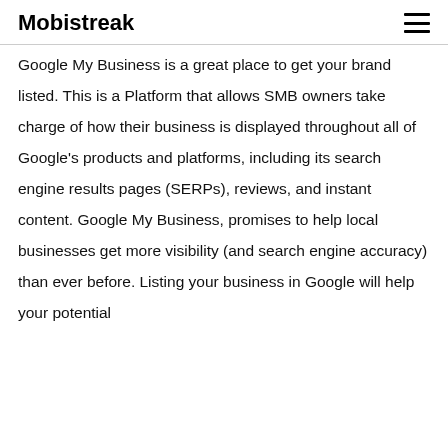Mobistreak
Google My Business is a great place to get your brand listed. This is a Platform that allows SMB owners take charge of how their business is displayed throughout all of Google’s products and platforms, including its search engine results pages (SERPs), reviews, and instant content. Google My Business, promises to help local businesses get more visibility (and search engine accuracy) than ever before. Listing your business in Google will help your potential